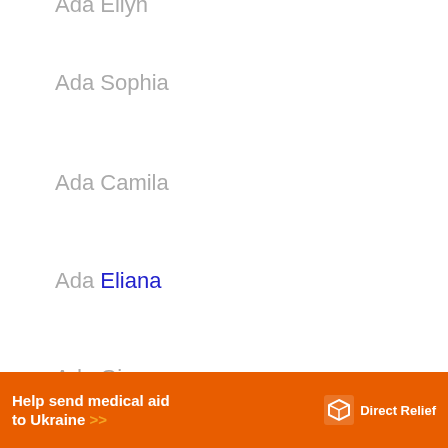Ada Ellyn
Ada Sophia
Ada Camila
Ada Eliana
Ada Gianna
Ada Mia
Ada Isabella
Ada ...
[Figure (other): Advertisement banner: Help send medical aid to Ukraine >> Direct Relief logo]